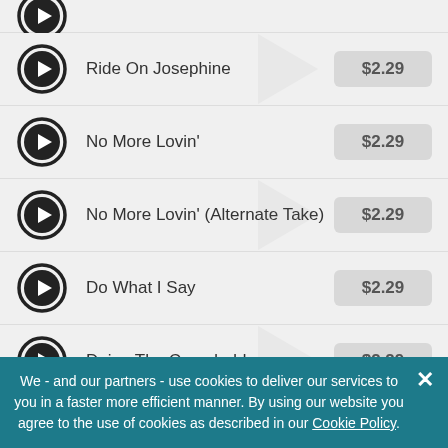Ride On Josephine — $2.29
No More Lovin' — $2.29
No More Lovin' (Alternate Take) — $2.29
Do What I Say — $2.29
Doing The Crawdaddy — $2.29
Whoa Mule (Shine) — $2.29
Cheyenne — $2.29
We - and our partners - use cookies to deliver our services to you in a faster more efficient manner. By using our website you agree to the use of cookies as described in our Cookie Policy.